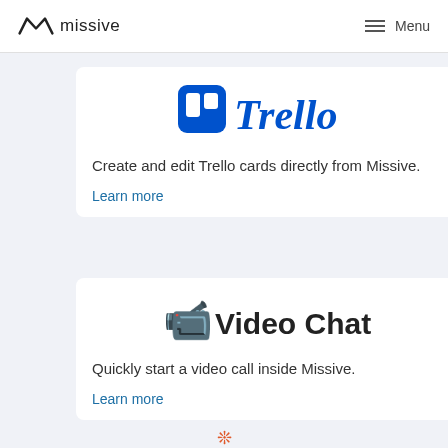missive  Menu
[Figure (logo): Trello logo — blue Trello icon and italic blue Trello wordmark]
Create and edit Trello cards directly from Missive.
Learn more
[Figure (illustration): Video camera emoji icon next to 'Video Chat' bold heading]
Quickly start a video call inside Missive.
Learn more